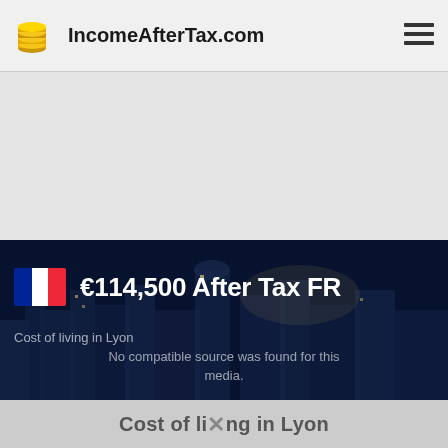IncomeAfterTax.com
[Figure (other): Advertisement or empty placeholder area with light gray background]
€114,500 After Tax FR
Cost of living in Lyon
No compatible source was found for this media.
Cost of living in Lyon